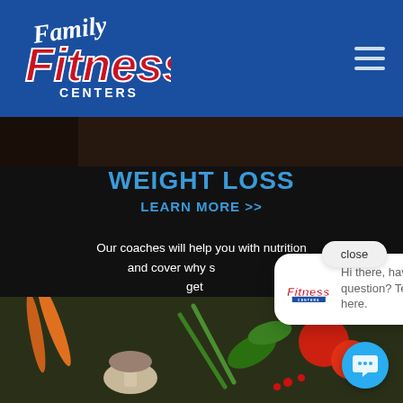[Figure (logo): Family Fitness Centers logo on blue header background with hamburger menu icon]
[Figure (photo): Dark image strip showing partial dark scene]
WEIGHT LOSS
LEARN MORE >>
Our coaches will help you with nutrition and cover why str... get ...
[Figure (photo): Vegetables including carrots, mushrooms, green beans, tomatoes, herbs on dark background]
[Figure (screenshot): Chat popup: Hi there, have a question? Text us here. With close button and Family Fitness Centers logo]
[Figure (other): Blue circular chat button with speech bubble icon]